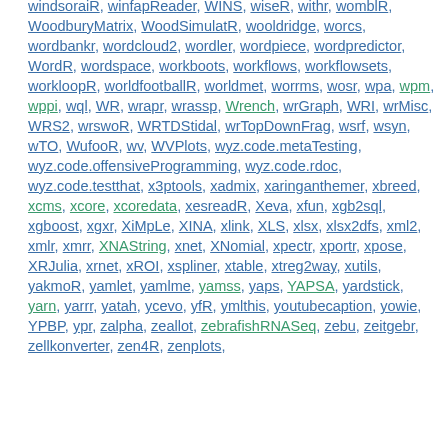windsoraiR, winfapReader, WINS, wiseR, withr, womblR, WoodburyMatrix, WoodSimulatR, wooldridge, worcs, wordbankr, wordcloud2, wordler, wordpiece, wordpredictor, WordR, wordspace, workboots, workflows, workflowsets, workloopR, worldfootballR, worldmet, worrms, wosr, wpa, wpm, wppi, wql, WR, wrapr, wrassp, Wrench, wrGraph, WRI, wrMisc, WRS2, wrswoR, WRTDStidal, wrTopDownFrag, wsrf, wsyn, wTO, WufooR, wv, WVPlots, wyz.code.metaTesting, wyz.code.offensiveProgramming, wyz.code.rdoc, wyz.code.testthat, x3ptools, xadmix, xaringanthemer, xbreed, xcms, xcore, xcoredata, xesreadR, Xeva, xfun, xgb2sql, xgboost, xgxr, XiMpLe, XINA, xlink, XLS, xlsx, xlsx2dfs, xml2, xmlr, xmrr, XNAString, xnet, XNomial, xpectr, xportr, xpose, XRJulia, xrnet, xROI, xspliner, xtable, xtreg2way, xutils, yakmoR, yamlet, yamlme, yamss, yaps, YAPSA, yardstick, yarn, yarrr, yatah, ycevo, yfR, ymlthis, youtubecaption, yowie, YPBP, ypr, zalpha, zeallot, zebrafishRNASeq, zebu, zeitgebr, zellkonverter, zen4R, zenplots